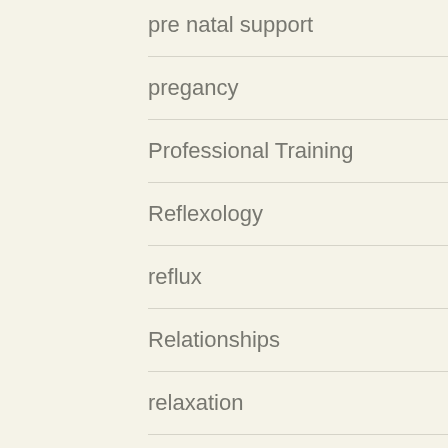pre natal support
pregancy
Professional Training
Reflexology
reflux
Relationships
relaxation
saturdays
Sciatica
Self Care
shiatsu